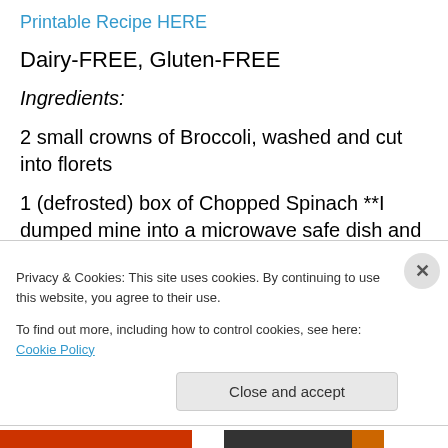Printable Recipe HERE
Dairy-FREE, Gluten-FREE
Ingredients:
2 small crowns of Broccoli, washed and cut into florets
1 (defrosted) box of Chopped Spinach **I dumped mine into a microwave safe dish and whacked it in the microwave for 5 minutes.
2 Tablespoons Garlic Confit **If you don't have any on
Privacy & Cookies: This site uses cookies. By continuing to use this website, you agree to their use.
To find out more, including how to control cookies, see here: Cookie Policy
Close and accept